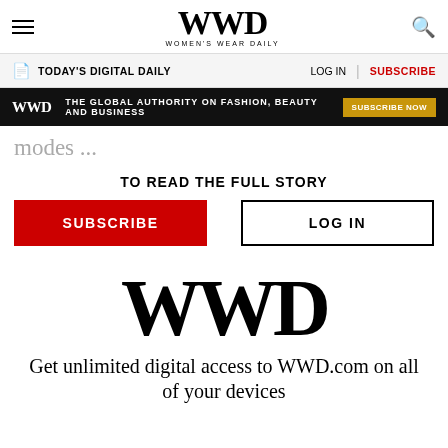WWD — Women's Wear Daily
TODAY'S DIGITAL DAILY   LOG IN   SUBSCRIBE
WWD  THE GLOBAL AUTHORITY ON FASHION, BEAUTY AND BUSINESS  SUBSCRIBE NOW
modes ...
TO READ THE FULL STORY
SUBSCRIBE   LOG IN
[Figure (logo): WWD Women's Wear Daily large logo]
Get unlimited digital access to WWD.com on all of your devices